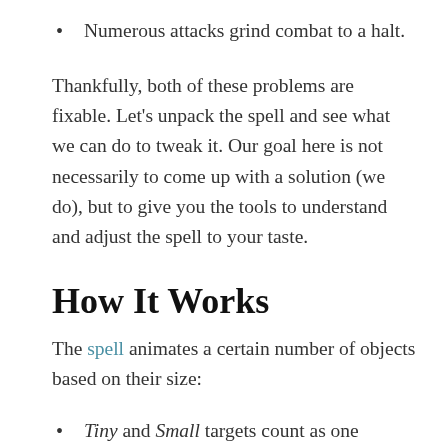Numerous attacks grind combat to a halt.
Thankfully, both of these problems are fixable. Let's unpack the spell and see what we can do to tweak it. Our goal here is not necessarily to come up with a solution (we do), but to give you the tools to understand and adjust the spell to your taste.
How It Works
The spell animates a certain number of objects based on their size:
Tiny and Small targets count as one object,
Medium targets count as two objects,